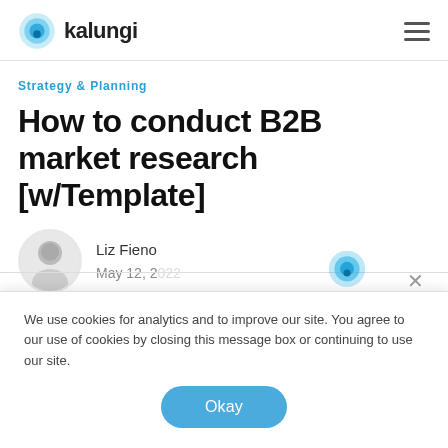kalungi
Strategy & Planning
How to conduct B2B market research [w/Template]
Liz Fieno
May 12, 2022
We use cookies for analytics and to improve our site. You agree to our use of cookies by closing this message box or continuing to use our site.